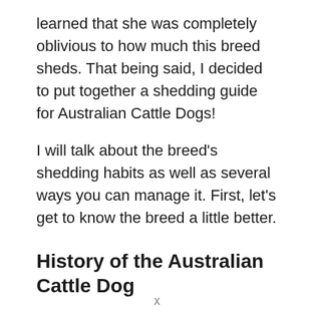learned that she was completely oblivious to how much this breed sheds. That being said, I decided to put together a shedding guide for Australian Cattle Dogs!
I will talk about the breed's shedding habits as well as several ways you can manage it. First, let's get to know the breed a little better.
History of the Australian Cattle Dog
Just as the name says, the Australian Cattle Dog made its debut in Australia as a working